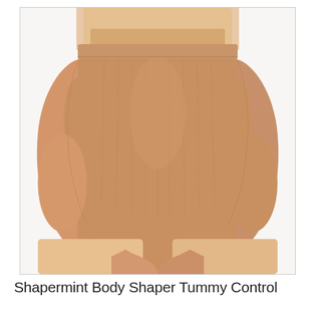[Figure (photo): Product photo of a Shapermint Body Shaper Tummy Control undergarment in nude/beige color, showing a woman's torso wearing the high-waisted shaping brief, photographed from the front against a white background.]
Shapermint Body Shaper Tummy Control